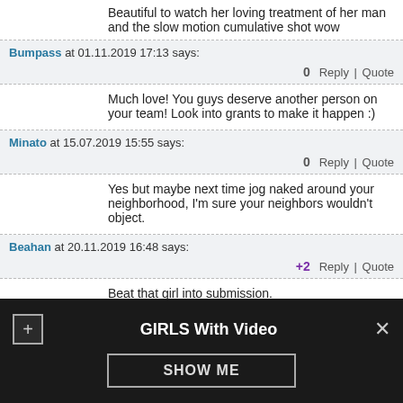Beautiful to watch her loving treatment of her man and the slow motion cumulative shot wow
Bumpass at 01.11.2019 17:13 says: 0 Reply | Quote
Much love! You guys deserve another person on your team! Look into grants to make it happen :)
Minato at 15.07.2019 15:55 says: 0 Reply | Quote
Yes but maybe next time jog naked around your neighborhood, I'm sure your neighbors wouldn't object.
Beahan at 20.11.2019 16:48 says: +2 Reply | Quote
Beat that girl into submission.
Chuck at 13.08.2019 19:13 says: 0 Reply | Quote
GIRLS With Video SHOW ME